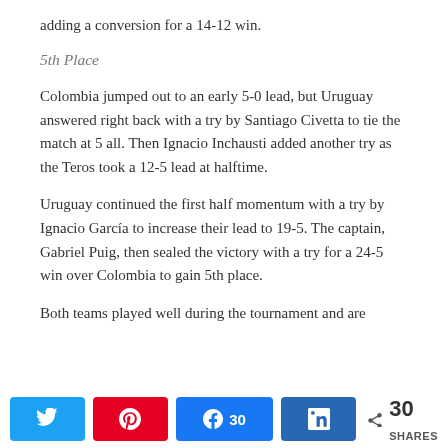adding a conversion for a 14-12 win.
5th Place
Colombia jumped out to an early 5-0 lead, but Uruguay answered right back with a try by Santiago Civetta to tie the match at 5 all. Then Ignacio Inchausti added another try as the Teros took a 12-5 lead at halftime.
Uruguay continued the first half momentum with a try by Ignacio García to increase their lead to 19-5. The captain, Gabriel Puig, then sealed the victory with a try for a 24-5 win over Colombia to gain 5th place.
Both teams played well during the tournament and are
[Figure (infographic): Social share buttons: Twitter, Pinterest, Facebook (30), LinkedIn, and share count showing 30 SHARES]